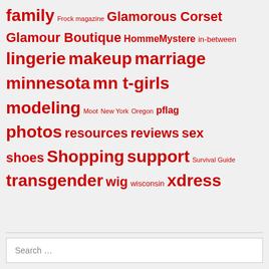family Frock magazine Glamorous Corset Glamour Boutique HommeMystere in-between lingerie makeup marriage minnesota mn t-girls modeling Moot New York Oregon pflag photos resources reviews sex shoes Shopping support Survival Guide transgender wig wisconsin xdress
Search ...